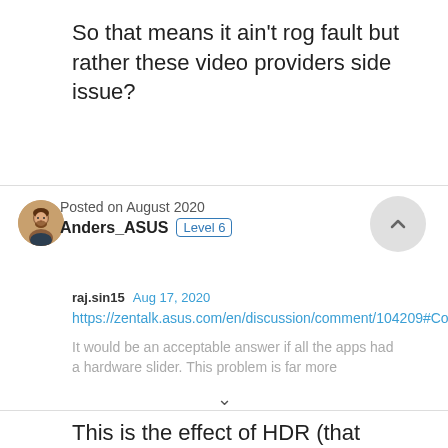So that means it ain't rog fault but rather these video providers side issue?
Posted on August 2020
Anders_ASUS  Level 6
raj.sin15  Aug 17, 2020
https://zentalk.asus.com/en/discussion/comment/104209#Comment_104209
It would be an acceptable answer if all the apps had a hardware slider. This problem is far more...
This is the effect of HDR (that everybody wants). If a phone supports HDR then the scenes gets